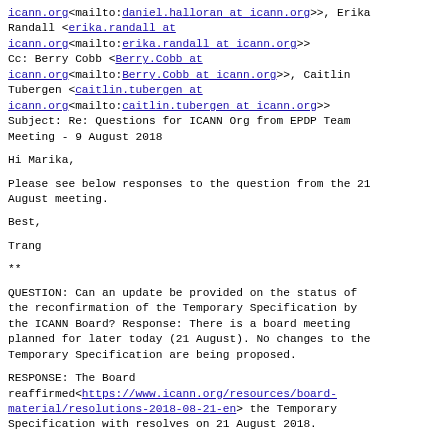icann.org<mailto:daniel.halloran at icann.org>>, Erika Randall <erika.randall at icann.org<mailto:erika.randall at icann.org>>
Cc: Berry Cobb <Berry.Cobb at icann.org<mailto:Berry.Cobb at icann.org>>, Caitlin Tubergen <caitlin.tubergen at icann.org<mailto:caitlin.tubergen at icann.org>>
Subject: Re: Questions for ICANN Org from EPDP Team Meeting - 9 August 2018
Hi Marika,
Please see below responses to the question from the 21 August meeting.
Best,
Trang
**
QUESTION: Can an update be provided on the status of the reconfirmation of the Temporary Specification by the ICANN Board? Response: There is a board meeting planned for later today (21 August). No changes to the Temporary Specification are being proposed.
RESPONSE: The Board reaffirmed<https://www.icann.org/resources/board-material/resolutions-2018-08-21-en> the Temporary Specification with resolves on 21 August 2018.